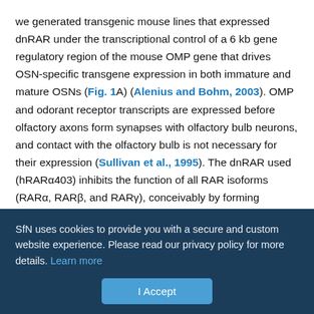we generated transgenic mouse lines that expressed dnRAR under the transcriptional control of a 6 kb gene regulatory region of the mouse OMP gene that drives OSN-specific transgene expression in both immature and mature OSNs (Fig. 1A) (Alenius and Bohm, 2003). OMP and odorant receptor transcripts are expressed before olfactory axons form synapses with olfactory bulb neurons, and contact with the olfactory bulb is not necessary for their expression (Sullivan et al., 1995). The dnRAR used (hRARα403) inhibits the function of all RAR isoforms (RARα, RARβ, and RARγ), conceivably by forming transcriptionally inactive RARα403-RXR heterodimers (Damm et al., 1993). The dnRAR lacks the AF2 ligand-dependent transactivation domain and therefore does not mediate induced transcription in response to retinoic acid. However, RXR agonist-
SfN uses cookies to provide you with a secure and custom website experience. Please read our privacy policy for more details. Learn more